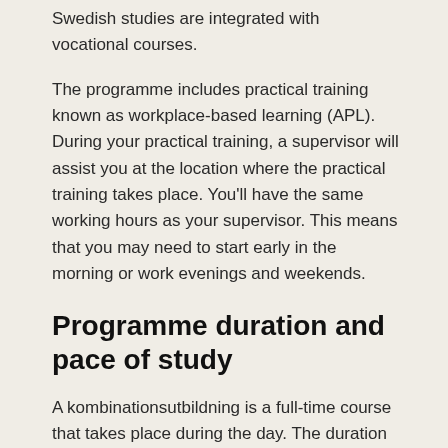Swedish studies are integrated with vocational courses.
The programme includes practical training known as workplace-based learning (APL). During your practical training, a supervisor will assist you at the location where the practical training takes place. You’ll have the same working hours as your supervisor. This means that you may need to start early in the morning or work evenings and weekends.
Programme duration and pace of study
A kombinationsutbildning is a full-time course that takes place during the day. The duration of the programme depends on the vocation you’re studying for. You’ll study for 30 hours a week at the school. You’ll also be required to do course work at home every week.